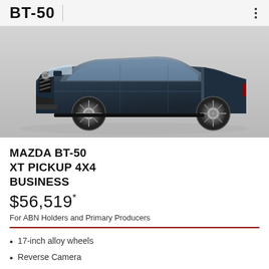BT-50
[Figure (photo): Mazda BT-50 pickup truck in dark blue/grey color, photographed from a front three-quarter angle on a light grey background.]
MAZDA BT-50 XT PICKUP 4X4 BUSINESS
$56,519*
For ABN Holders and Primary Producers
17-inch alloy wheels
Reverse Camera
Android Auto™ and Wireless Apple CarPlay®